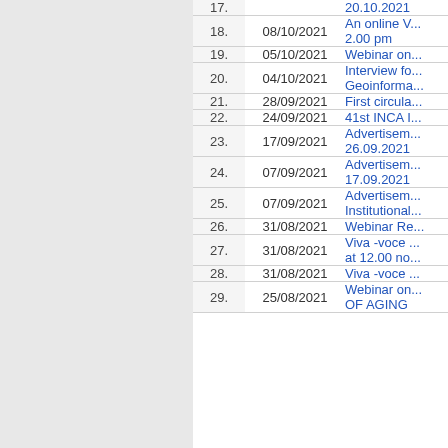| # | Date | Description |
| --- | --- | --- |
| 17. |  | 20.10.2021 |
| 18. | 08/10/2021 | An online V... 2.00 pm |
| 19. | 05/10/2021 | Webinar on... |
| 20. | 04/10/2021 | Interview fo... Geoinforma... |
| 21. | 28/09/2021 | First circula... |
| 22. | 24/09/2021 | 41st INCA I... |
| 23. | 17/09/2021 | Advertisem... 26.09.2021 |
| 24. | 07/09/2021 | Advertisem... 17.09.2021 |
| 25. | 07/09/2021 | Advertisem... Institutional... |
| 26. | 31/08/2021 | Webinar Re... |
| 27. | 31/08/2021 | Viva -voce ... at 12.00 no... |
| 28. | 31/08/2021 | Viva -voce ... |
| 29. | 25/08/2021 | Webinar on... OF AGING |